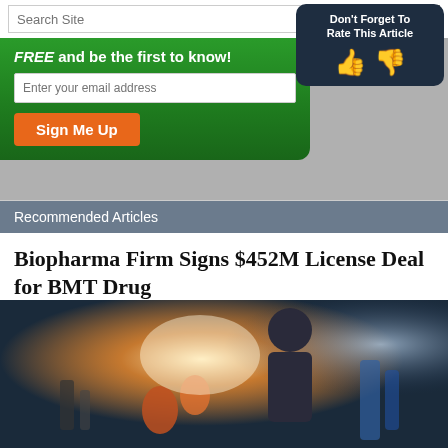Search Site
Don't Forget To Rate This Article
FREE and be the first to know! Enter your email address Sign Me Up
Recommended Articles
Biopharma Firm Signs $452M License Deal for BMT Drug
Source: Streetwise Reports (04/12/2022)
[Figure (photo): Laboratory scientist in protective gear examining samples with warm backlight through window]